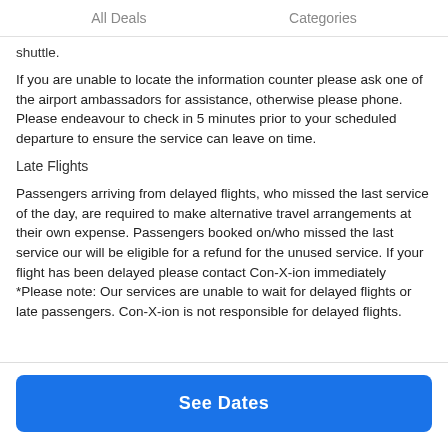All Deals    Categories
shuttle.
If you are unable to locate the information counter please ask one of the airport ambassadors for assistance, otherwise please phone. Please endeavour to check in 5 minutes prior to your scheduled departure to ensure the service can leave on time.
Late Flights
Passengers arriving from delayed flights, who missed the last service of the day, are required to make alternative travel arrangements at their own expense. Passengers booked on/who missed the last service our will be eligible for a refund for the unused service. If your flight has been delayed please contact Con-X-ion immediately
*Please note: Our services are unable to wait for delayed flights or late passengers. Con-X-ion is not responsible for delayed flights.
See Dates